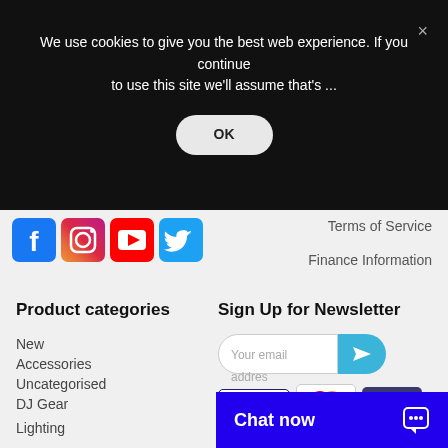We use cookies to give you the best web experience. If you continue to use this site we'll assume that's ...
OK
[Figure (screenshot): Social media icons: Facebook, Instagram, YouTube, Twitter]
Terms of Service
Finance Information
Product categories
Sign Up for Newsletter
New
Accessories
Uncategorised
DJ Gear
Lighting
Your email addres
[Figure (other): Payment method logos: VISA, Mastercard, Maestro]
Chat now